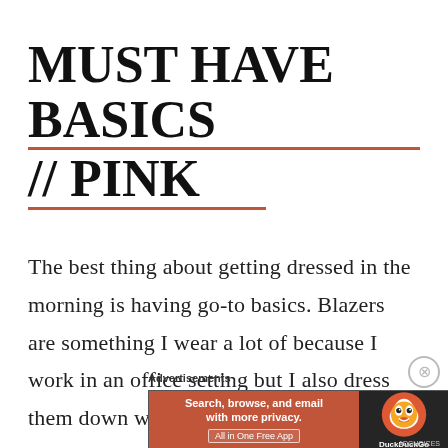MUST HAVE BASICS // PINK
The best thing about getting dressed in the morning is having go-to basics. Blazers are something I wear a lot of because I work in an office setting but I also dress them down with jeans and shorts. I find them completely versatile and believe everyone should own a quality one or a few. Another
[Figure (infographic): DuckDuckGo advertisement banner: orange left side with text 'Search, browse, and email with more privacy. All in One Free App', dark right side with DuckDuckGo duck logo and brand name]
Advertisements